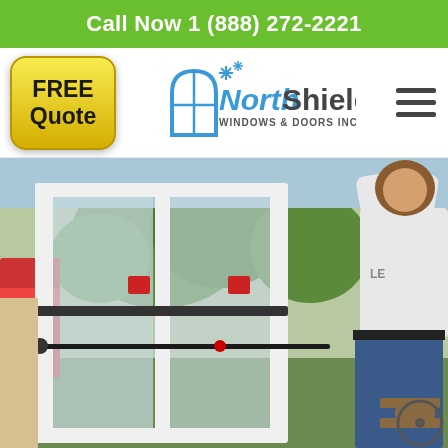Call Now 1 (888) 272-2221
[Figure (logo): FREE Quote yellow rounded button and NorthShield Windows & Doors Inc logo with snowflake icon, and hamburger menu icon]
[Figure (photo): Worker installing large white sliding glass door/window panel, with another person visible on the left side, trees and vehicle in background, daytime outdoor setting]